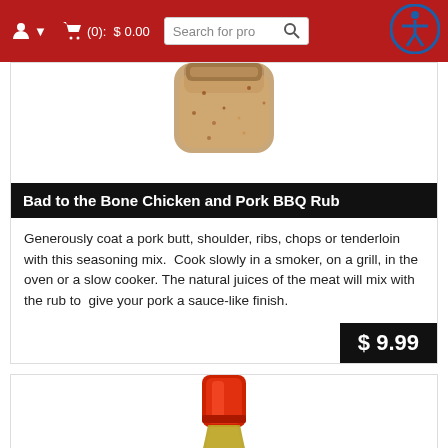Person icon | Cart (0): $ 0.00 | Search for products | Accessibility
[Figure (photo): Top portion of a spice jar with seasoning rub visible, cropped at top of page]
Bad to the Bone Chicken and Pork BBQ Rub
Generously coat a pork butt, shoulder, ribs, chops or tenderloin with this seasoning mix.  Cook slowly in a smoker, on a grill, in the oven or a slow cooker. The natural juices of the meat will mix with the rub to give your pork a sauce-like finish.
$ 9.99
[Figure (photo): Bottom half of a glass sauce bottle with red cap/lid, containing yellowish-brown BBQ sauce]